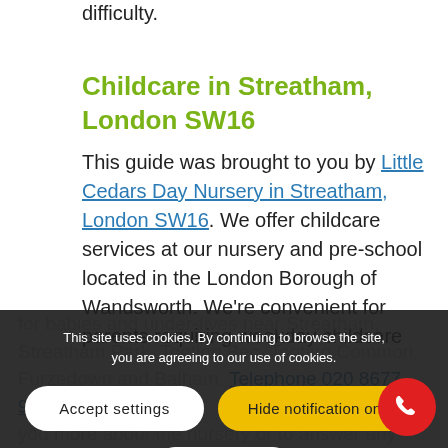difficulty.
Childcare in Streatham, London SW16
This guide was brought to you by Little Cedars Day Nursery in Streatham, London SW16. We offer childcare services at our nursery and pre-school located in the London Borough of Wandsworth. We're convenient for parents requiring weekday childcare for babies and under-fives near Streatham, Streatham Park, Tooting Bec, Tooting Common, Furzedown and Balham. Telephone 020 8677 9675 for more information. We'll be delighted to tell you more about the nursery or to answer any questions. Alternatively, book a tour of the nursery here.
This site uses cookies. By continuing to browse the site, you are agreeing to our use of cookies.